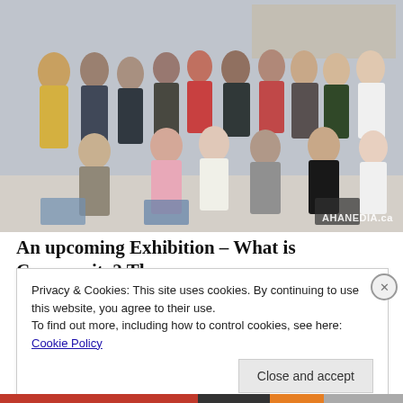[Figure (photo): Group photo of approximately 20 people seated and standing in a room, taken indoors. Watermark reads AHANEDIA.ca in bottom right corner.]
An upcoming Exhibition – What is Community? The
Privacy & Cookies: This site uses cookies. By continuing to use this website, you agree to their use.
To find out more, including how to control cookies, see here: Cookie Policy
Close and accept